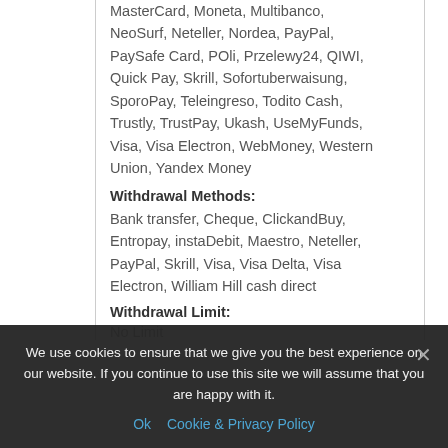MasterCard, Moneta, Multibanco, NeoSurf, Neteller, Nordea, PayPal, PaySafe Card, POli, Przelewy24, QIWI, Quick Pay, Skrill, Sofortuberwaisung, SporoPay, Teleingreso, Todito Cash, Trustly, TrustPay, Ukash, UseMyFunds, Visa, Visa Electron, WebMoney, Western Union, Yandex Money
Withdrawal Methods:
Bank transfer, Cheque, ClickandBuy, Entropay, instaDebit, Maestro, Neteller, PayPal, Skrill, Visa, Visa Delta, Visa Electron, William Hill cash direct
Withdrawal Limit:
No Limit
We use cookies to ensure that we give you the best experience on our website. If you continue to use this site we will assume that you are happy with it.
Ok  Cookie & Privacy Policy